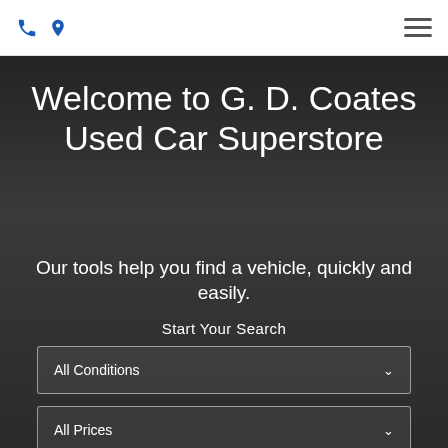Phone icon, Location icon, Hamburger menu
Welcome to G. D. Coates Used Car Superstore
Our tools help you find a vehicle, quickly and easily.
Start Your Search
All Conditions
All Prices